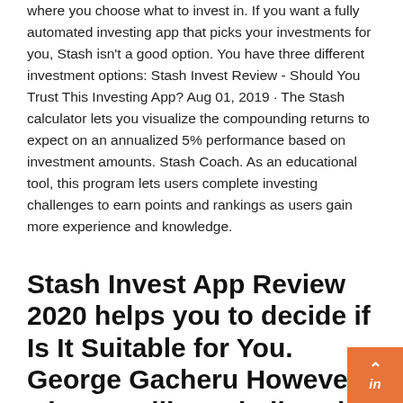where you choose what to invest in. If you want a fully automated investing app that picks your investments for you, Stash isn't a good option. You have three different investment options: Stash Invest Review - Should You Trust This Investing App? Aug 01, 2019 · The Stash calculator lets you visualize the compounding returns to expect on an annualized 5% performance based on investment amounts. Stash Coach. As an educational tool, this program lets users complete investing challenges to earn points and rankings as users gain more experience and knowledge.
Stash Invest App Review 2020 helps you to decide if Is It Suitable for You. George Gacheru However what you like or believe in